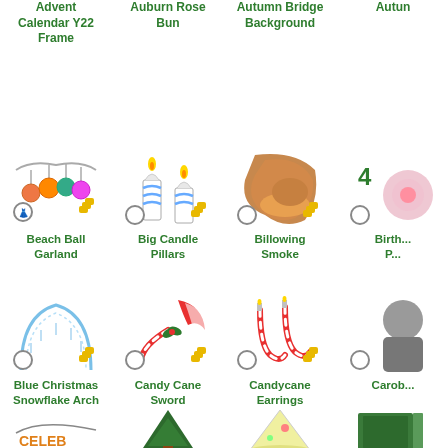Advent Calendar Y22 Frame
Auburn Rose Bun
Autumn Bridge Background
Autun...
[Figure (illustration): Beach Ball Garland item with hanger and coin badges]
Beach Ball Garland
[Figure (illustration): Big Candle Pillars item with hanger and coin badges]
Big Candle Pillars
[Figure (illustration): Billowing Smoke item with hanger and coin badges]
Billowing Smoke
[Figure (illustration): Birthday item partially visible, number 4 badge]
Birth... P...
[Figure (illustration): Blue Christmas Snowflake Arch with hanger and coin badges]
Blue Christmas Snowflake Arch
[Figure (illustration): Candy Cane Sword with hanger and coin badges]
Candy Cane Sword
[Figure (illustration): Candycane Earrings with hanger and coin badges]
Candycane Earrings
[Figure (illustration): Carol... item partially visible]
Carob...
[Figure (illustration): Celeb banner item]
[Figure (illustration): Christmas tree item]
[Figure (illustration): Party hat item]
[Figure (illustration): Book/card item]